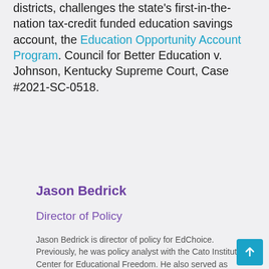districts, challenges the state's first-in-the-nation tax-credit funded education savings account, the Education Opportunity Account Program. Council for Better Education v. Johnson, Kentucky Supreme Court, Case #2021-SC-0518.
Jason Bedrick
Director of Policy
Jason Bedrick is director of policy for EdChoice. Previously, he was policy analyst with the Cato Institute's Center for Educational Freedom. He also served as legislator in the New Hampshire House of